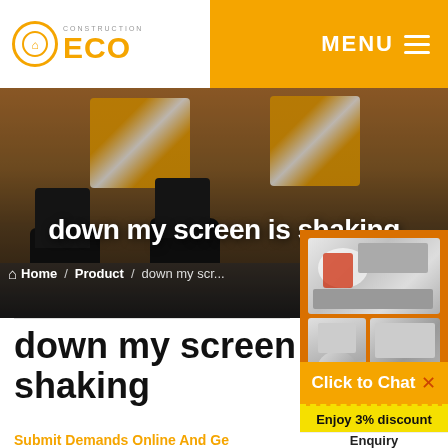CONSTRUCTION ECO — MENU
[Figure (photo): Hero image of construction worker boots on asphalt/road surface with orange construction site background]
down my screen is shaking
Home / Product / down my scr...
[Figure (photo): Orange sidebar panel showing mining/crushing machinery equipment images]
Enjoy 3% discount
Click to Chat
Enquiry
down my screen is shaking
Submit Demands Online And Ge...